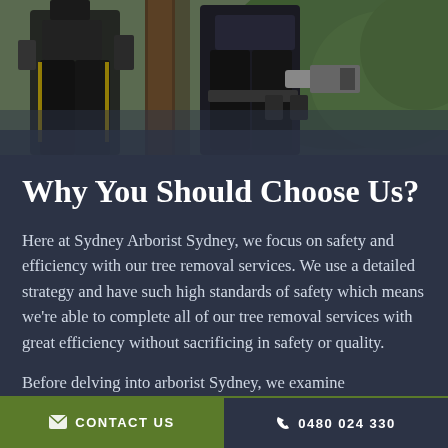[Figure (photo): Two arborists in safety gear with harnesses and equipment, one holding a chainsaw, working near trees with green foliage in background]
Why You Should Choose Us?
Here at Sydney Arborist Sydney, we focus on safety and efficiency with our tree removal services. We use a detailed strategy and have such high standards of safety which means we're able to complete all of our tree removal services with great efficiency without sacrificing in safety or quality.
Before delving into arborist Sydney, we examine
✉ CONTACT US   ✆ 0480 024 330